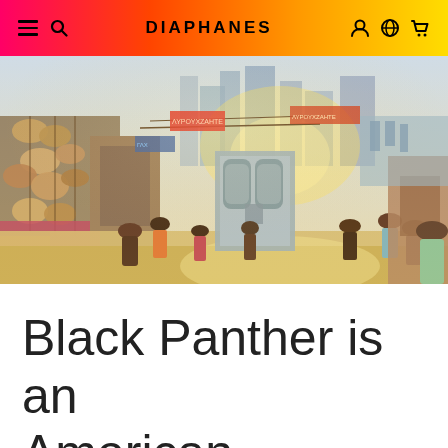DIAPHANES
[Figure (photo): Street scene from the movie Black Panther showing a busy market alleyway with people, hanging baskets, colorful signs, and a futuristic door/portal structure in the background against a cityscape.]
Black Panther is an American...